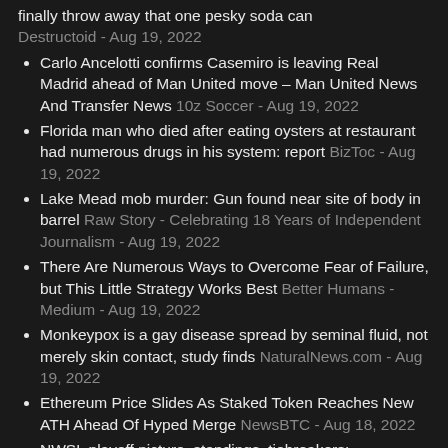finally throw away that one pesky soda can Destructoid - Aug 19, 2022
Carlo Ancelotti confirms Casemiro is leaving Real Madrid ahead of Man United move – Man United News And Transfer News 10z Soccer - Aug 19, 2022
Florida man who died after eating oysters at restaurant had numerous drugs in his system: report BizToc - Aug 19, 2022
Lake Mead mob murder: Gun found near site of body in barrel Raw Story - Celebrating 18 Years of Independent Journalism - Aug 19, 2022
There Are Numerous Ways to Overcome Fear of Failure, but This Little Strategy Works Best Better Humans - Medium - Aug 19, 2022
Monkeypox is a gay disease spread by seminal fluid, not merely skin contact, study finds NaturalNews.com - Aug 19, 2022
Ethereum Price Slides As Staked Token Reaches New ATH Ahead Of Hyped Merge NewsBTC - Aug 18, 2022
NWSL playoff picture, standings, tiebreakers: